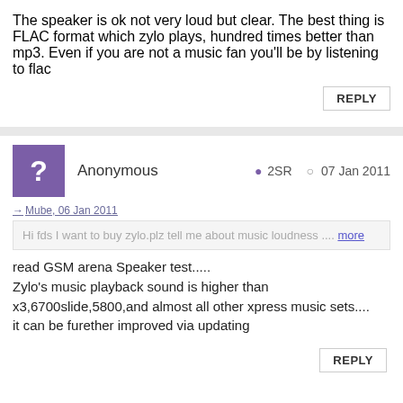The speaker is ok not very loud but clear. The best thing is FLAC format which zylo plays, hundred times better than mp3. Even if you are not a music fan you'll be by listening to flac
REPLY
Anonymous  2SR  07 Jan 2011
Mube, 06 Jan 2011
Hi fds I want to buy zylo.plz tell me about music loudness .... more
read GSM arena Speaker test.....
Zylo's music playback sound is higher than x3,6700slide,5800,and almost all other xpress music sets....
it can be furether improved via updating
REPLY